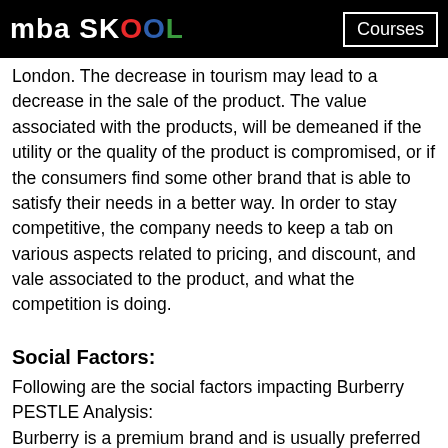mba SKOOL | Courses
London. The decrease in tourism may lead to a decrease in the sale of the product. The value associated with the products, will be demeaned if the utility or the quality of the product is compromised, or if the consumers find some other brand that is able to satisfy their needs in a better way. In order to stay competitive, the company needs to keep a tab on various aspects related to pricing, and discount, and vale associated to the product, and what the competition is doing.
Social Factors:
Following are the social factors impacting Burberry PESTLE Analysis:
Burberry is a premium brand and is usually preferred by the affluent. Since the company realized the potential in the upper